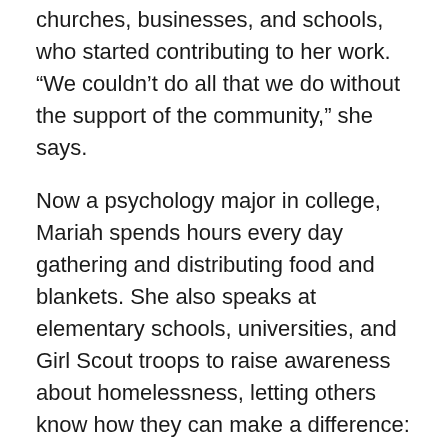churches, businesses, and schools, who started contributing to her work. “We couldn’t do all that we do without the support of the community,” she says.
Now a psychology major in college, Mariah spends hours every day gathering and distributing food and blankets. She also speaks at elementary schools, universities, and Girl Scout troops to raise awareness about homelessness, letting others know how they can make a difference: “Once you help someone who’s homeless it changes your life forever,” she says. “You think about them when it rains; you think about them when it’s way too hot outside, when you can’t stand to be out there.” This Christmas season, with the help of local donors, she assembled over 850 stockings to hand out, full of supplies like toothbrushes, hats and gloves, as well as treats like cookies and personal messages of support.